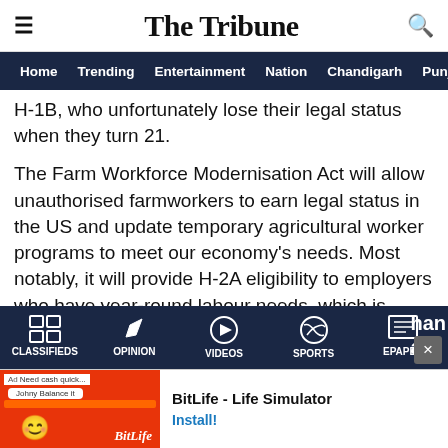The Tribune
Home Trending Entertainment Nation Chandigarh Punjab
H-1B, who unfortunately lose their legal status when they turn 21.
The Farm Workforce Modernisation Act will allow unauthorised farmworkers to earn legal status in the US and update temporary agricultural worker programs to meet our economy's needs. Most notably, it will provide H-2A eligibility to employers who have year-round labour needs, which is critical for dairy and livestock, it said.
CLASSIFIEDS OPINION VIDEOS SPORTS EPAPER
[Figure (screenshot): BitLife - Life Simulator advertisement banner at the bottom of the page]